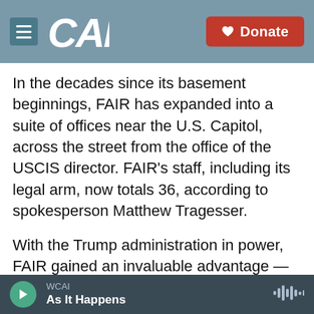[Figure (logo): CAI radio station logo and navigation bar with hamburger menu and Donate button]
In the decades since its basement beginnings, FAIR has expanded into a suite of offices near the U.S. Capitol, across the street from the office of the USCIS director. FAIR's staff, including its legal arm, now totals 36, according to spokesperson Matthew Tragesser.
With the Trump administration in power, FAIR gained an invaluable advantage — a ready and willing partner inside the federal government during the final 2020 census planning stages.
"What they haven't been yet able to do through the
WCAI
As It Happens